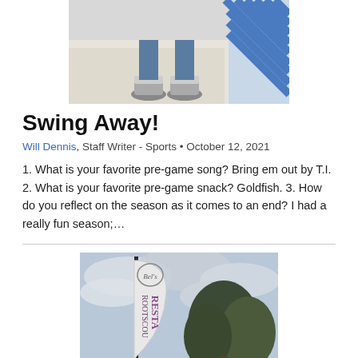[Figure (photo): Cropped photo showing a person's feet/legs wearing sneakers, standing on a light-colored surface with blue diagonal stripe pattern on the right side.]
Swing Away!
Will Dennis, Staff Writer - Sports • October 12, 2021
1. What is your favorite pre-game song? Bring em out by T.I. 2. What is your favorite pre-game snack? Goldfish. 3. How do you reflect on the season as it comes to an end? I had a really fun season;…
[Figure (photo): Photo of a tall banner/flag with text reading 'RESTA ROOTSCOU' against a cloudy sky with trees in the background.]